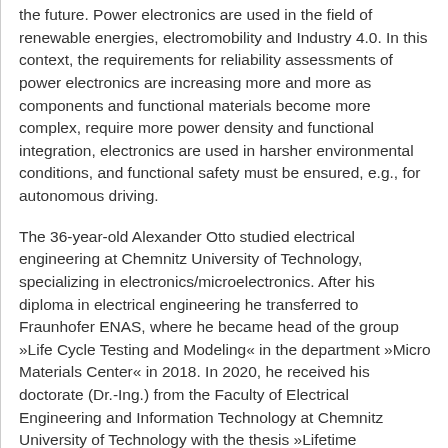the future. Power electronics are used in the field of renewable energies, electromobility and Industry 4.0. In this context, the requirements for reliability assessments of power electronics are increasing more and more as components and functional materials become more complex, require more power density and functional integration, electronics are used in harsher environmental conditions, and functional safety must be ensured, e.g., for autonomous driving.
The 36-year-old Alexander Otto studied electrical engineering at Chemnitz University of Technology, specializing in electronics/microelectronics. After his diploma in electrical engineering he transferred to Fraunhofer ENAS, where he became head of the group »Life Cycle Testing and Modeling« in the department »Micro Materials Center« in 2018. In 2020, he received his doctorate (Dr.-Ing.) from the Faculty of Electrical Engineering and Information Technology at Chemnitz University of Technology with the thesis »Lifetime